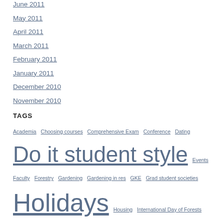June 2011
May 2011
April 2011
March 2011
February 2011
January 2011
December 2010
November 2010
TAGS
Academia Choosing courses Comprehensive Exam Conference Dating Do it student style Events Faculty Forestry Gardening Gardening in res GKE Grad student societies Holidays Housing International Day of Forests International Students Job market Korean Lab Culture Lifestyle Making transitions MASc MEGA multicultural PhD Prep for grad school Productivity Requriements Residences Thesis Time management Travel Trees